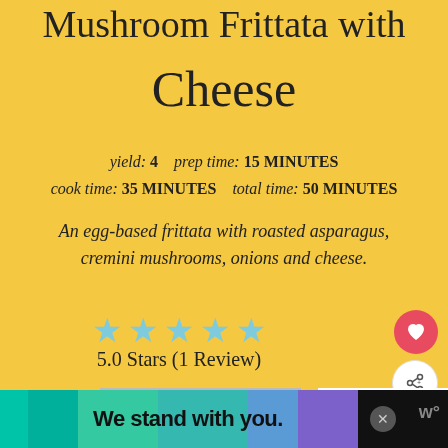Mushroom Frittata with Cheese
yield: 4   prep time: 15 MINUTES
cook time: 35 MINUTES   total time: 50 MINUTES
An egg-based frittata with roasted asparagus, cremini mushrooms, onions and cheese.
5.0 Stars (1 Review)
Print
WHAT'S NEXT → Why Is My Toddler...
We stand with you.